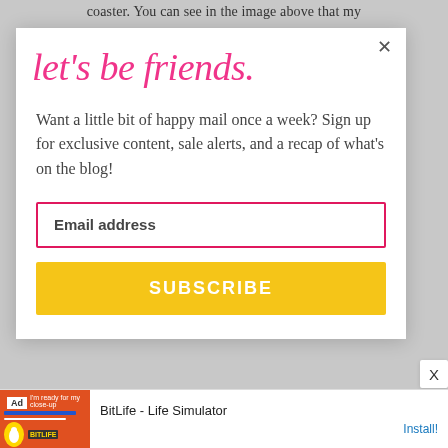coaster. You can see in the image above that my
[Figure (screenshot): A popup modal overlay with a handwritten-style pink title 'let's be friends.', body text about signing up for happy mail, an email address input field with pink border, and a yellow SUBSCRIBE button, with a close X button in the top right corner.]
let's be friends.
Want a little bit of happy mail once a week? Sign up for exclusive content, sale alerts, and a recap of what's on the blog!
Email address
SUBSCRIBE
BitLife - Life Simulator
Install!